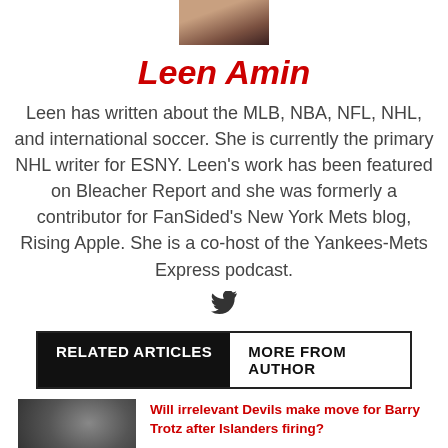[Figure (photo): Cropped author photo of Leen Amin]
Leen Amin
Leen has written about the MLB, NBA, NFL, NHL, and international soccer. She is currently the primary NHL writer for ESNY. Leen's work has been featured on Bleacher Report and she was formerly a contributor for FanSided's New York Mets blog, Rising Apple. She is a co-host of the Yankees-Mets Express podcast.
[Figure (other): Twitter bird icon]
RELATED ARTICLES   MORE FROM AUTHOR
[Figure (photo): Thumbnail photo for article about Devils and Barry Trotz]
Will irrelevant Devils make move for Barry Trotz after Islanders firing?